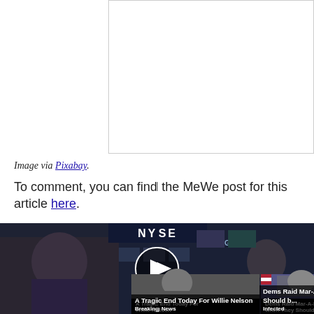[Figure (photo): White rectangular image placeholder area]
Image via Pixabay.
To comment, you can find the MeWe post for this article here.
[Figure (screenshot): Video thumbnail showing NYSE trading floor with a play button overlay, and two news ad cards at the bottom: 'A Tragic End Today For Willie Nelson - Breaking News' and 'Dems Raid Mar-A-Lago when They Should b... - Infected' with a close X button]